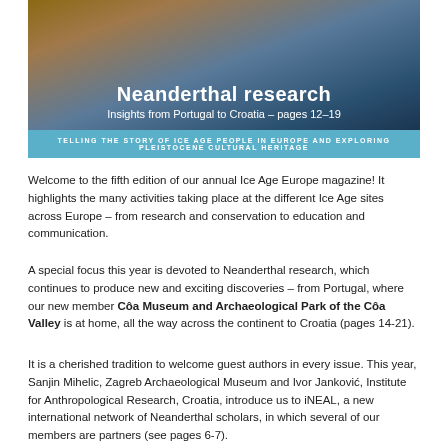[Figure (illustration): Cover image of Ice Age Europe magazine featuring a dark animal silhouette and text overlay 'Neanderthal research – Insights from Portugal to Croatia – pages 12–19' with a teal banner at the bottom reading 'TELLING THE STORY OF ICE AGE PEOPLE IN EUROPE AND EXPLORING PLEISTOCENE CULTURAL HERITAGE']
Welcome to the fifth edition of our annual Ice Age Europe magazine! It highlights the many activities taking place at the different Ice Age sites across Europe – from research and conservation to education and communication.
A special focus this year is devoted to Neanderthal research, which continues to produce new and exciting discoveries – from Portugal, where our new member Côa Museum and Archaeological Park of the Côa Valley is at home, all the way across the continent to Croatia (pages 14-21).
It is a cherished tradition to welcome guest authors in every issue. This year, Sanjin Mihelic, Zagreb Archaeological Museum and Ivor Janković, Institute for Anthropological Research, Croatia, introduce us to iNEAL, a new international network of Neanderthal scholars, in which several of our members are partners (see pages 6-7).